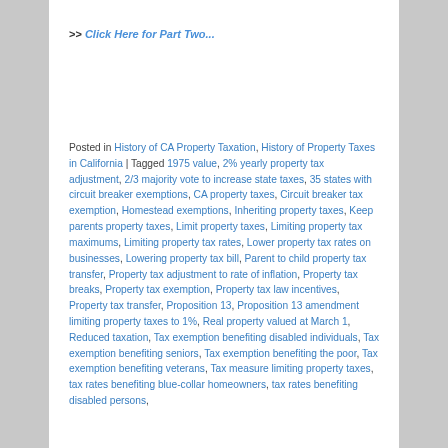>> Click Here for Part Two...
Posted in History of CA Property Taxation, History of Property Taxes in California | Tagged 1975 value, 2% yearly property tax adjustment, 2/3 majority vote to increase state taxes, 35 states with circuit breaker exemptions, CA property taxes, Circuit breaker tax exemption, Homestead exemptions, Inheriting property taxes, Keep parents property taxes, Limit property taxes, Limiting property tax maximums, Limiting property tax rates, Lower property tax rates on businesses, Lowering property tax bill, Parent to child property tax transfer, Property tax adjustment to rate of inflation, Property tax breaks, Property tax exemption, Property tax law incentives, Property tax transfer, Proposition 13, Proposition 13 amendment limiting property taxes to 1%, Real property valued at March 1, Reduced taxation, Tax exemption benefiting disabled individuals, Tax exemption benefiting seniors, Tax exemption benefiting the poor, Tax exemption benefiting veterans, Tax measure limiting property taxes, tax rates benefiting blue-collar homeowners, tax rates benefiting disabled persons,